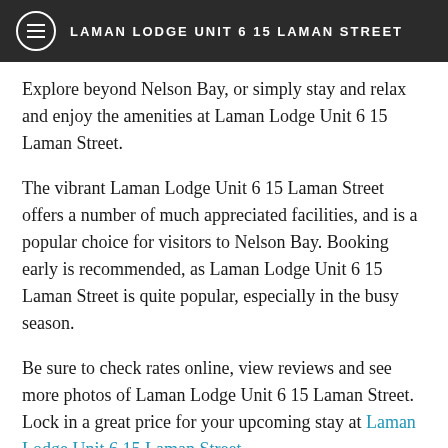LAMAN LODGE UNIT 6 15 LAMAN STREET
Explore beyond Nelson Bay, or simply stay and relax and enjoy the amenities at Laman Lodge Unit 6 15 Laman Street.
The vibrant Laman Lodge Unit 6 15 Laman Street offers a number of much appreciated facilities, and is a popular choice for visitors to Nelson Bay. Booking early is recommended, as Laman Lodge Unit 6 15 Laman Street is quite popular, especially in the busy season.
Be sure to check rates online, view reviews and see more photos of Laman Lodge Unit 6 15 Laman Street. Lock in a great price for your upcoming stay at Laman Lodge Unit 6 15 Laman Street.